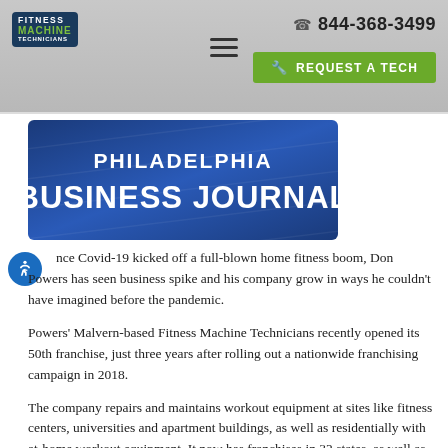Fitness Machine Technicians | 844-368-3499 | REQUEST A TECH
[Figure (logo): Philadelphia Business Journal logo banner — dark blue background with white text]
nce Covid-19 kicked off a full-blown home fitness boom, Don Powers has seen business spike and his company grow in ways he couldn't have imagined before the pandemic.
Powers' Malvern-based Fitness Machine Technicians recently opened its 50th franchise, just three years after rolling out a nationwide franchising campaign in 2018.
The company repairs and maintains workout equipment at sites like fitness centers, universities and apartment buildings, as well as residentially with at-home workout equipment. It now has franchises in 32 states, as well as